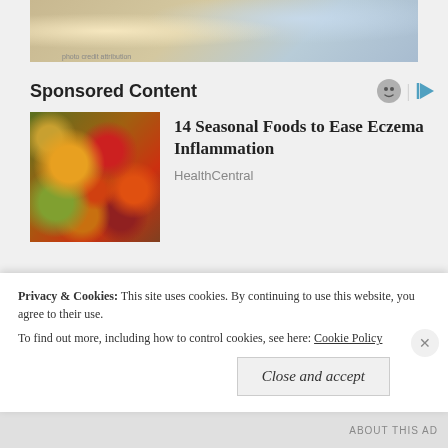[Figure (photo): Top banner image showing blurred floral/nature background in warm and cool tones]
Sponsored Content
[Figure (photo): Colorful assortment of seasonal fruits and vegetables including tomatoes, oranges, and greens]
14 Seasonal Foods to Ease Eczema Inflammation
HealthCentral
[Figure (photo): Black and white portrait photo of a woman with dark hair and bangs]
33 Famous People Who Went Missing And Were Never Found To This Day
Privacy & Cookies: This site uses cookies. By continuing to use this website, you agree to their use.
To find out more, including how to control cookies, see here: Cookie Policy
Close and accept